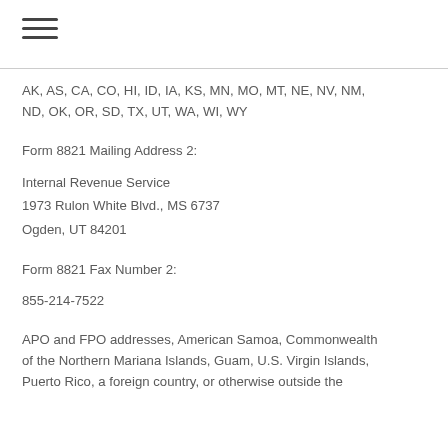AK, AS, CA, CO, HI, ID, IA, KS, MN, MO, MT, NE, NV, NM, ND, OK, OR, SD, TX, UT, WA, WI, WY
Form 8821 Mailing Address 2:
Internal Revenue Service
1973 Rulon White Blvd., MS 6737
Ogden, UT 84201
Form 8821 Fax Number 2:
855-214-7522
APO and FPO addresses, American Samoa, Commonwealth of the Northern Mariana Islands, Guam, U.S. Virgin Islands, Puerto Rico, a foreign country, or otherwise outside the